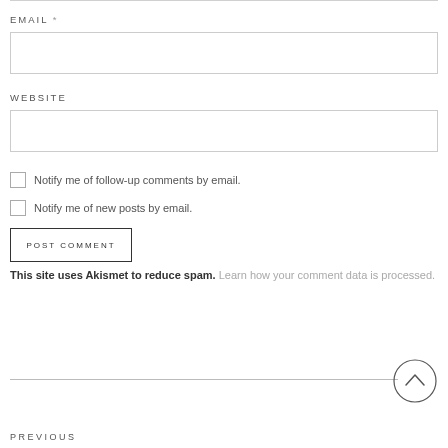EMAIL *
[Figure (other): Empty email input text field with light gray border]
WEBSITE
[Figure (other): Empty website input text field with light gray border]
Notify me of follow-up comments by email.
Notify me of new posts by email.
[Figure (other): POST COMMENT button with border]
This site uses Akismet to reduce spam. Learn how your comment data is processed.
PREVIOUS